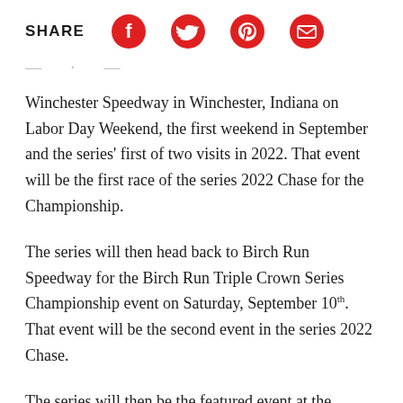SHARE
Winchester Speedway in Winchester, Indiana on Labor Day Weekend, the first weekend in September and the series' first of two visits in 2022. That event will be the first race of the series 2022 Chase for the Championship.
The series will then head back to Birch Run Speedway for the Birch Run Triple Crown Series Championship event on Saturday, September 10th. That event will be the second event in the series 2022 Chase.
The series will then be the featured event at the previously announced Fall Brawl 2022 event at